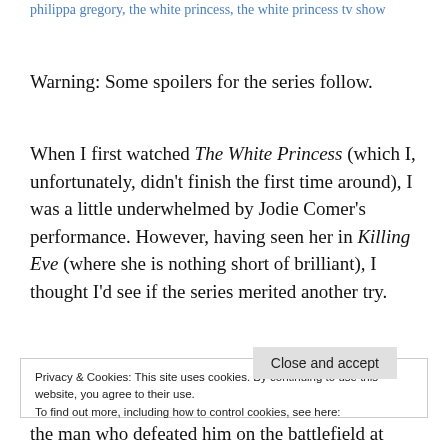philippa gregory, the white princess, the white princess tv show
Warning: Some spoilers for the series follow.
When I first watched The White Princess (which I, unfortunately, didn't finish the first time around), I was a little underwhelmed by Jodie Comer's performance. However, having seen her in Killing Eve (where she is nothing short of brilliant), I thought I'd see if the series merited another try.
Privacy & Cookies: This site uses cookies. By continuing to use this website, you agree to their use.
To find out more, including how to control cookies, see here:
Cookie Policy
Close and accept
the man who defeated him on the battlefield at